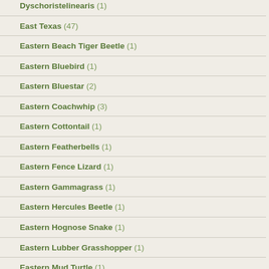Dyschoristelinearis (1)
East Texas (47)
Eastern Beach Tiger Beetle (1)
Eastern Bluebird (1)
Eastern Bluestar (2)
Eastern Coachwhip (3)
Eastern Cottontail (1)
Eastern Featherbells (1)
Eastern Fence Lizard (1)
Eastern Gammagrass (1)
Eastern Hercules Beetle (1)
Eastern Hognose Snake (1)
Eastern Lubber Grasshopper (1)
Eastern Mud Turtle (1)
Eastern Phoebe (1)